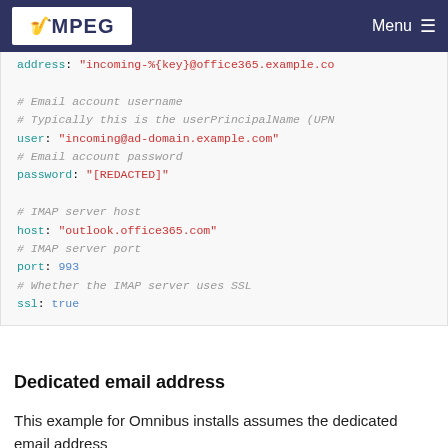MPEG Menu
address: "incoming-%{key}@office365.example.cc"
# Email account username
# Typically this is the userPrincipalName (UPN
user: "incoming@ad-domain.example.com"
# Email account password
password: "[REDACTED]"
# IMAP server host
host: "outlook.office365.com"
# IMAP server port
port: 993
# Whether the IMAP server uses SSL
ssl: true
Dedicated email address
This example for Omnibus installs assumes the dedicated email address